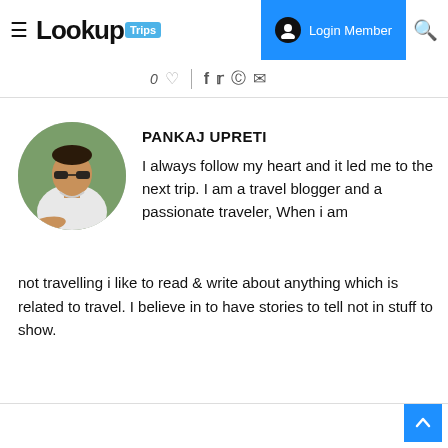LookupTrips — Login Member
0 ♡ | f t p ✉
PANKAJ UPRETI
I always follow my heart and it led me to the next trip. I am a travel blogger and a passionate traveler, When i am not travelling i like to read & write about anything which is related to travel. I believe in to have stories to tell not in stuff to show.
[Figure (photo): Circular profile photo of Pankaj Upreti, a young man wearing sunglasses and a white t-shirt, resting on his arms outdoors.]